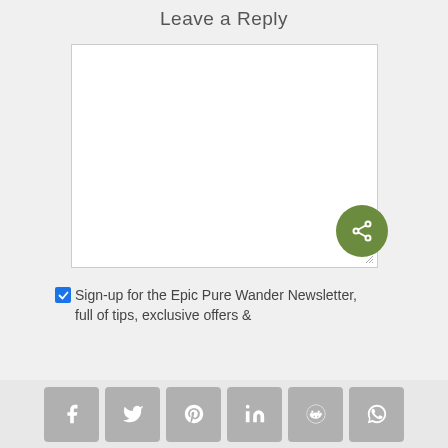Leave a Reply
[Figure (screenshot): Empty comment text area input box with resize handle]
Sign-up for the Epic Pure Wander Newsletter, full of tips, exclusive offers & ...
[Figure (infographic): Social media share buttons: Facebook, Twitter, Pinterest, LinkedIn, Reddit, WhatsApp]